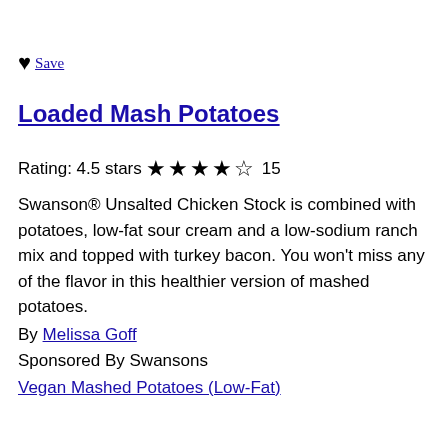♥ Save
Loaded Mash Potatoes
Rating: 4.5 stars ★★★★☆ 15
Swanson® Unsalted Chicken Stock is combined with potatoes, low-fat sour cream and a low-sodium ranch mix and topped with turkey bacon. You won't miss any of the flavor in this healthier version of mashed potatoes.
By Melissa Goff
Sponsored By Swansons
Vegan Mashed Potatoes (Low-Fat)